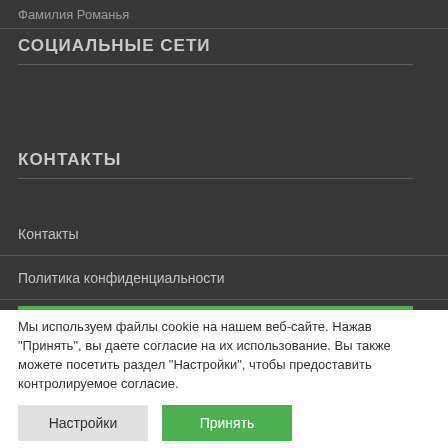Фамилия Романья
СОЦИАЛЬНЫЕ СЕТИ
КОНТАКТЫ
Контакты
Политика конфиденциальности
Мы используем файлы cookie на нашем веб-сайте. Нажав "Принять", вы даете согласие на их использование. Вы также можете посетить раздел "Настройки", чтобы предоставить контролируемое согласие.
Настройки
Принять